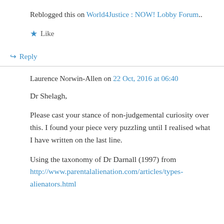Reblogged this on World4Justice : NOW! Lobby Forum..
★ Like
↪ Reply
Laurence Norwin-Allen on 22 Oct, 2016 at 06:40
Dr Shelagh,
Please cast your stance of non-judgemental curiosity over this. I found your piece very puzzling until I realised what I have written on the last line.
Using the taxonomy of Dr Darnall (1997) from http://www.parentalalienation.com/articles/types-alienators.html